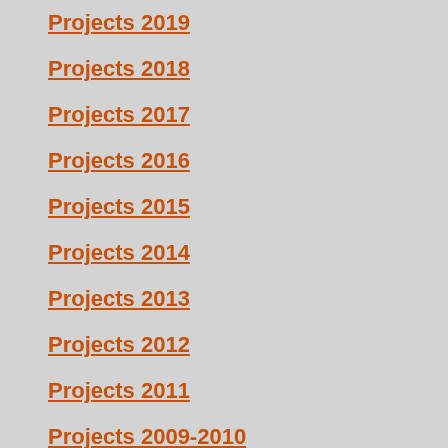Projects 2019
Projects 2018
Projects 2017
Projects 2016
Projects 2015
Projects 2014
Projects 2013
Projects 2012
Projects 2011
Projects 2009-2010
Tradition & Modernity
Exhibitions
The seafood we eat
Encounters
Reviews
Publications